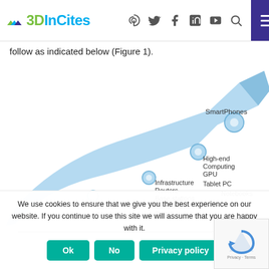3DInCites — navigation bar with logo and social icons
follow as indicated below (Figure 1).
[Figure (infographic): Arrow diagram showing technology adoption curve from Server Memory at bottom-left, through Infrastructure/Routers/Base stations/Central Office Switch, then High-end Computing/GPU, then Tablet PC/Notebooks, up to SmartPhones at the top-right, all along a rising curved blue arrow.]
We use cookies to ensure that we give you the best experience on our website. If you continue to use this site we will assume that you are happy with it.